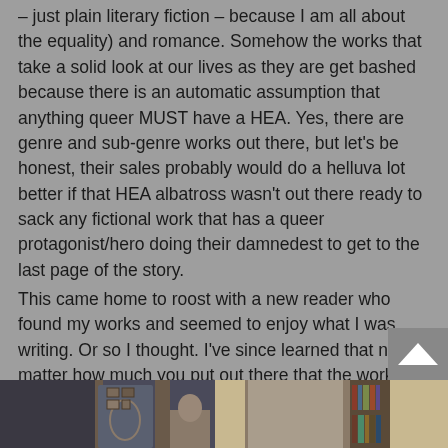– just plain literary fiction – because I am all about the equality) and romance. Somehow the works that take a solid look at our lives as they are get bashed because there is an automatic assumption that anything queer MUST have a HEA. Yes, there are genre and sub-genre works out there, but let's be honest, their sales probably would do a helluva lot better if that HEA albatross wasn't out there ready to sack any fictional work that has a queer protagonist/hero doing their damnedest to get to the last page of the story.
This came home to roost with a new reader who found my works and seemed to enjoy what I was writing. Or so I thought. I've since learned that no matter how much you put out there that the work is NOT romance, the prevailing winds are if it is queer then it MUST BE romance. Another reason why I rail at that genre. It's poisoning the coffers of other works out there. I don't fucking care if it sells. It still should not myopically mar the other stories that need to be told.
[Figure (photo): Bottom portion of a photograph showing what appears to be a room interior with dark walls, framed artwork, curtains, and bookshelves visible]